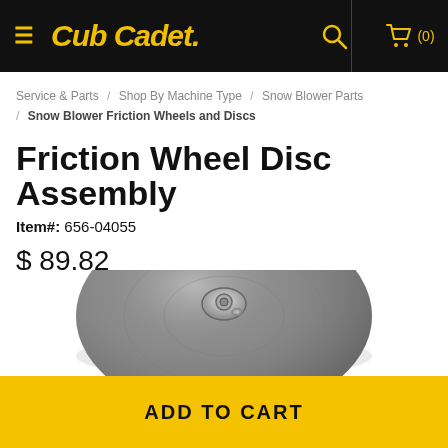Cub Cadet  (0)
Service & Parts / Shop By Machine Type / Snow Blower Parts / Snow Blower Friction Wheels and Discs
Friction Wheel Disc Assembly
Item#: 656-04055
$ 89.82
[Figure (photo): Friction wheel disc assembly - a round dark grey rubber/metal disc with a central bolt hub, photographed from above on a white background.]
ADD TO CART